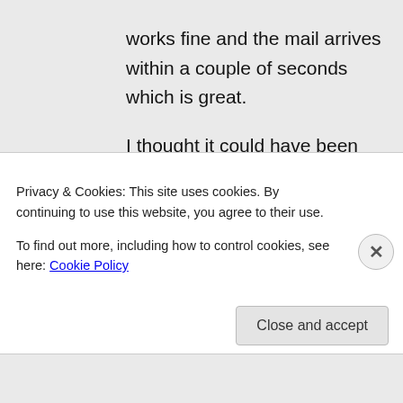works fine and the mail arrives within a couple of seconds which is great.
I thought it could have been the receiving server (Exchange 2010) doing something funny but even sending to other personal addresses produces the same results.

Would it be possible to get the
Privacy & Cookies: This site uses cookies. By continuing to use this website, you agree to their use.
To find out more, including how to control cookies, see here: Cookie Policy